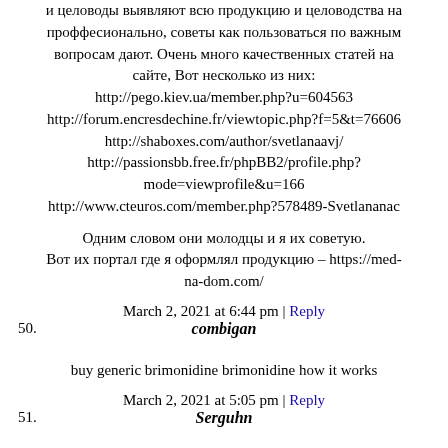и целоводы выявляют всю продукцию и целоводства на проффесионально, советы как пользоваться по важным вопросам дают. Очень много качественных статей на сайте, Вот несколько из них:
http://pego.kiev.ua/member.php?u=604563
http://forum.encresdechine.fr/viewtopic.php?f=5&t=76606
http://shaboxes.com/author/svetlanaavj/
http://passionsbb.free.fr/phpBB2/profile.php?mode=viewprofile&u=166
http://www.cteuros.com/member.php?578489-Svetlananac
Одним словом они молодцы и я их советую.
Вот их портал где я оформлял продукцию – https://med-na-dom.com/
March 2, 2021 at 6:44 pm | Reply
50. combigan
buy generic brimonidine brimonidine how it works
March 2, 2021 at 5:05 pm | Reply
51. Serguhn
Do you know what holiday it is today?
We are used to the fact that we know only religious and public holidays and celebrate only them.